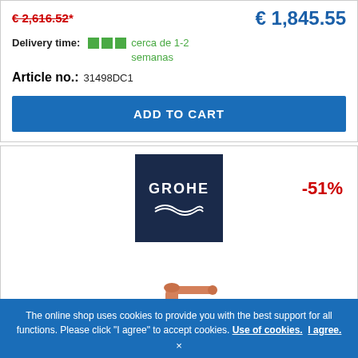€ 2,616.52*
€ 1,845.55
Delivery time: cerca de 1-2 semanas
Article no.: 31498DC1
ADD TO CART
[Figure (logo): GROHE brand logo on dark navy background with wave motif]
-51%
[Figure (photo): Rose gold/copper colored single-lever basin faucet tap]
The online shop uses cookies to provide you with the best support for all functions. Please click "I agree" to accept cookies. Use of cookies. I agree.
×